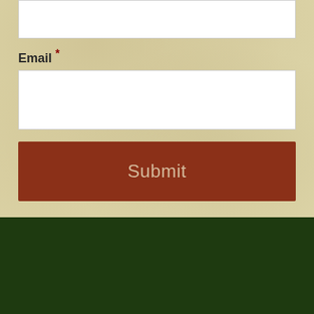Email *
Submit
Home | The Conference Centre | Britannia Beach | Activities | How to Help | Photos | Contact Us
© 2022 · CRCC · Charitable #813372018RR0001